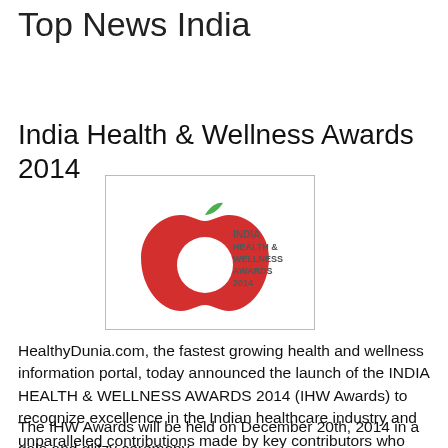Top News India
India Health & Wellness Awards 2014
[Figure (logo): India Health & Wellness Awards 2014 logo — a red apple bite shape with a green leaf and text reading INDIA HEALTH & WELLNESS AWARDS 2014]
HealthyDunia.com, the fastest growing health and wellness information portal, today announced the launch of the INDIA HEALTH & WELLNESS AWARDS 2014 (IHW Awards) to recognize excellence in the Indian healthcare industry and unparalleled contributions made by key contributors who have enriched the field.
The IHW Awards will be held on December 20th, 2014 in a gala and glitzy ceremony
at Hotel Hyatt Regency in the national capital. Union Health